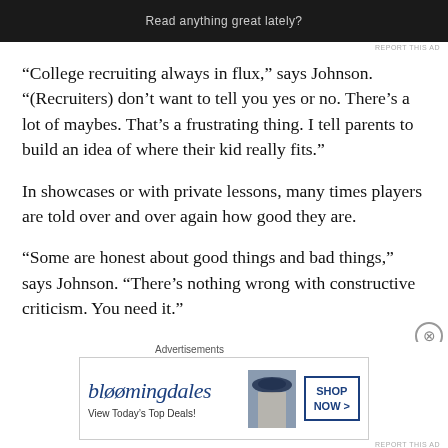[Figure (other): Dark advertisement banner with text 'Read anything great lately?']
REPORT THIS AD
“College recruiting always in flux,” says Johnson. “(Recruiters) don’t want to tell you yes or no. There’s a lot of maybes. That’s a frustrating thing. I tell parents to build an idea of where their kid really fits.”
In showcases or with private lessons, many times players are told over and over again how good they are.
“Some are honest about good things and bad things,” says Johnson. “There’s nothing wrong with constructive criticism. You need it.”
Johnson sees his role with the Razorbacks as driven by
[Figure (other): Bloomingdale's advertisement banner with logo, model photo, and 'SHOP NOW >' button with text 'View Today's Top Deals!']